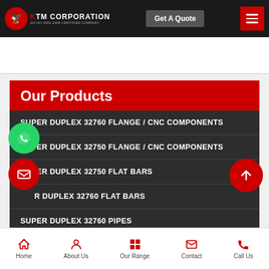KTM CORPORATION - AN ISO 9001:2008 CERTIFIED COMPANY
Our Products
SUPER DUPLEX 32760 FLANGE / CNC COMPONENTS
SUPER DUPLEX 32750 FLANGE / CNC COMPONENTS
SUPER DUPLEX 32750 FLAT BARS
SUPER DUPLEX 32760 FLAT BARS
SUPER DUPLEX 32760 PIPES
SUPER DUPLEX 32750 PIPES
Home  About Us  Our Range  Contact  Call Us